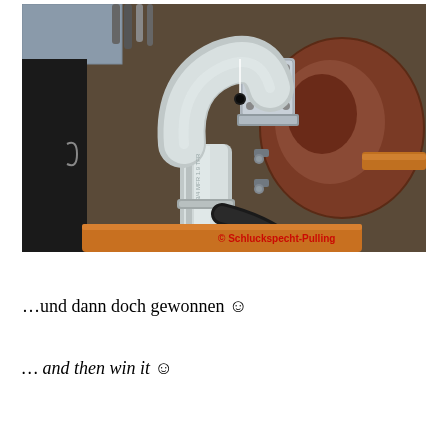[Figure (photo): Close-up photograph of engine components: a curved stainless steel exhaust/intake pipe, a turbocharger housing, flanges, clamps, and hoses. A rubber hose is visible at the lower right. A red watermark reads '© Schluckspecht-Pulling' at the bottom right corner.]
…und dann doch gewonnen ☺
… and then win it ☺